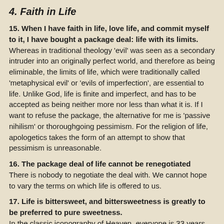4. Faith in Life
15. When I have faith in life, love life, and commit myself to it, I have bought a package deal: life with its limits. Whereas in traditional theology 'evil' was seen as a secondary intruder into an originally perfect world, and therefore as being eliminable, the limits of life, which were traditionally called 'metaphysical evil' or 'evils of imperfection', are essential to life. Unlike God, life is finite and imperfect, and has to be accepted as being neither more nor less than what it is. If I want to refuse the package, the alternative for me is 'passive nihilism' or thoroughgoing pessimism. For the religion of life, apologetics takes the form of an attempt to show that pessimism is unreasonable.
16. The package deal of life cannot be renegotiated There is nobody to negotiate the deal with. We cannot hope to vary the terms on which life is offered to us.
17. Life is bittersweet, and bittersweetness is greatly to be preferred to pure sweetness. In the classic iconography of Heaven, everyone is 33 years